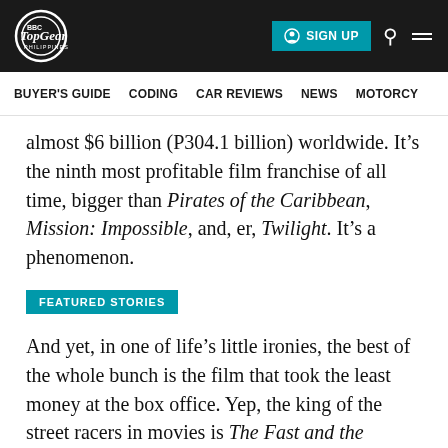TopGear Philippines | SIGN UP
BUYER'S GUIDE   CODING   CAR REVIEWS   NEWS   MOTORCY
almost $6 billion (P304.1 billion) worldwide. It’s the ninth most profitable film franchise of all time, bigger than Pirates of the Caribbean, Mission: Impossible, and, er, Twilight. It’s a phenomenon.
FEATURED STORIES
And yet, in one of life’s little ironies, the best of the whole bunch is the film that took the least money at the box office. Yep, the king of the street racers in movies is The Fast and the